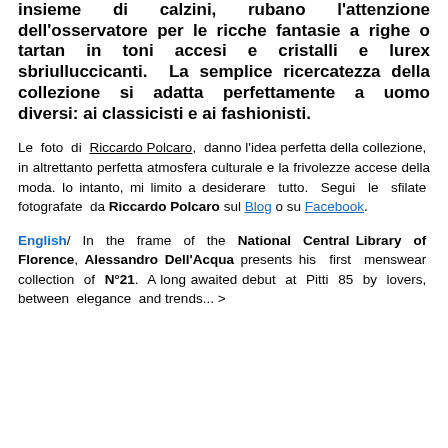insieme di calzini, rubano l'attenzione dell'osservatore per le ricche fantasie a righe o tartan in toni accesi e cristalli e lurex sbriulluccicanti. La semplice ricercatezza della collezione si adatta perfettamente a uomo diversi: ai classicisti e ai fashionisti.
Le foto di Riccardo Polcaro, danno l'idea perfetta della collezione, in altrettanto perfetta atmosfera culturale e la frivolezze accese della moda. Io intanto, mi limito a desiderare tutto. Segui le sfilate fotografate da Riccardo Polcaro sul Blog o su Facebook.
English/ In the frame of the National Central Library of Florence, Alessandro Dell'Acqua presents his first menswear collection of N°21. A long awaited debut at Pitti 85 by lovers, between elegance and trends... >